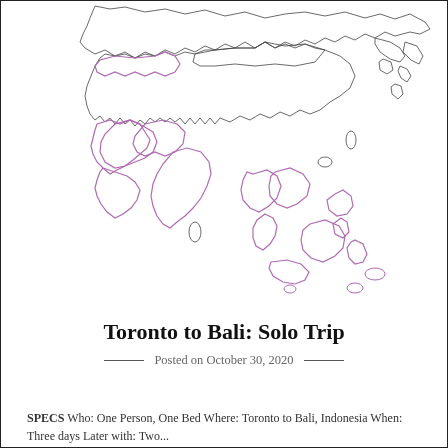[Figure (map): Outline map of Asia showing country borders; some countries in the Middle East, South Asia, and Southeast Asia highlighted with purple/violet outlines.]
Toronto to Bali: Solo Trip
Posted on October 30, 2020
SPECS Who: One Person, One Bed Where: Toronto to Bali, Indonesia When: Three days Later with: Two...